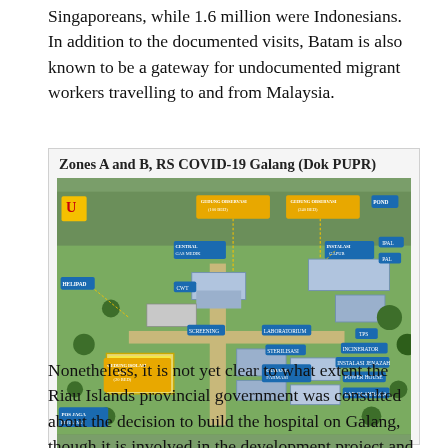Singaporeans, while 1.6 million were Indonesians. In addition to the documented visits, Batam is also known to be a gateway for undocumented migrant workers travelling to and from Malaysia.
Zones A and B, RS COVID-19 Galang (Dok PUPR)
[Figure (photo): Aerial architectural rendering of RS COVID-19 Galang hospital complex showing Zones A and B with labeled buildings including Gedung Observasi (100 Bed), Gedung Observasi (240 Bed), Helipad, Central Gas Medik, CWT, IPAL, Instalasi Gapub, Screening, Gedung Isolasi ICU (20 Bed), Laboratorium, Farmasi, Gudang Farmasi, POND, TPS, Incinerator, Instalasi Jenazah, Power House, Lap Olahraga, Pos Jaga Bersama, PAL]
Nonetheless, it is not yet clear to what extent the Riau Islands provincial government was consulted about the decision to build the hospital on Galang, though it is involved in the development project and is providing